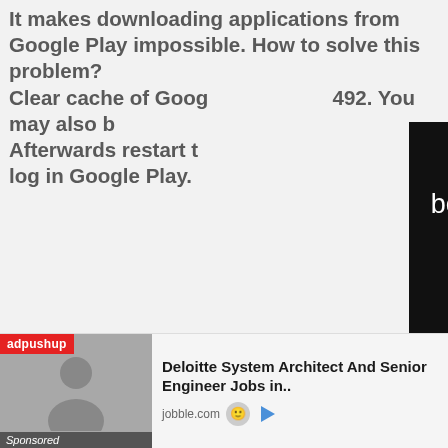It makes downloading applications from Google Play impossible. How to solve this problem? Clear cache of Google Play error 492. You may also ... Afterwards restart ... log in Google Play.
[Figure (screenshot): Black overlay error message: 'The media could not be loaded, either because the server or network failed or because the' with an X close button]
[Figure (screenshot): Android phone UI screenshot showing Google Play Store Storage settings with Clear Cache button highlighted by red arrow]
[Figure (other): Floating circular button with three white dots]
[Figure (infographic): Advertisement: adpushup sponsored ad for Deloitte System Architect And Senior Engineer Jobs on jobble.com]